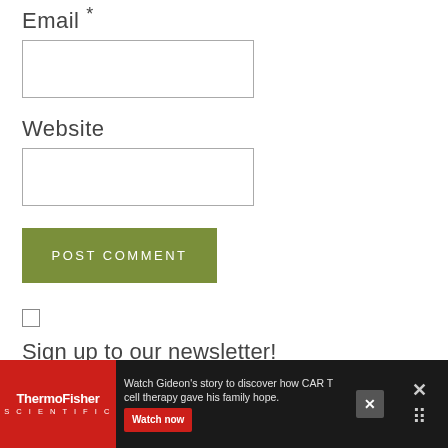Email *
[Figure (other): Empty text input box for Email field]
Website
[Figure (other): Empty text input box for Website field]
POST COMMENT
[Figure (other): Checkbox unchecked]
Sign up to our newsletter!
[Figure (other): ThermoFisher Scientific advertisement banner. Red background with ThermoFisher Scientific logo, text reading 'Watch Gideon's story to discover how CAR T cell therapy gave his family hope.' and a Watch now button. Dark right side with close X icon.]